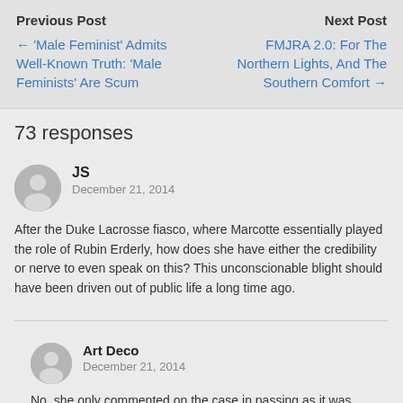Previous Post | Next Post
← 'Male Feminist' Admits Well-Known Truth: 'Male Feminists' Are Scum
FMJRA 2.0: For The Northern Lights, And The Southern Comfort →
73 responses
JS
December 21, 2014
After the Duke Lacrosse fiasco, where Marcotte essentially played the role of Rubin Erderly, how does she have either the credibility or nerve to even speak on this? This unconscionable blight should have been driven out of public life a long time ago.
Art Deco
December 21, 2014
No, she only commented on the case in passing as it was imploding. She was then stomped flat